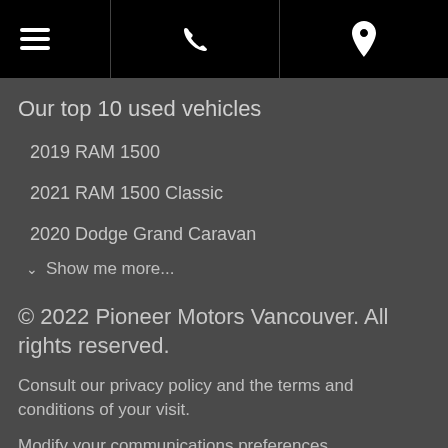Navigation bar with hamburger menu, phone icon, and location icon
Our top 10 used vehicles
2019 RAM 1500
2021 RAM 1500 Classic
2020 Dodge Grand Caravan
Show me more...
© 2022 Pioneer Motors Vancouver. All rights reserved.
Consult our privacy policy and the terms and conditions of your visit.
Modify your communications preferences.
Dealer Website and Dealer CRM by D2C Media.
Member of the AutoAubaine network.
[Figure (other): Facebook Like button showing Like 0]